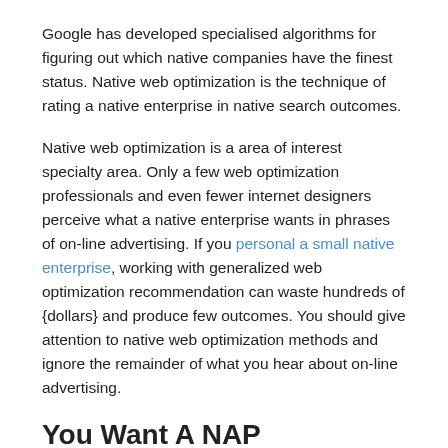Google has developed specialised algorithms for figuring out which native companies have the finest status. Native web optimization is the technique of rating a native enterprise in native search outcomes.
Native web optimization is a area of interest specialty area. Only a few web optimization professionals and even fewer internet designers perceive what a native enterprise wants in phrases of on-line advertising. If you personal a small native enterprise, working with generalized web optimization recommendation can waste hundreds of {dollars} and produce few outcomes. You should give attention to native web optimization methods and ignore the remainder of what you hear about on-line advertising.
You Want A NAP